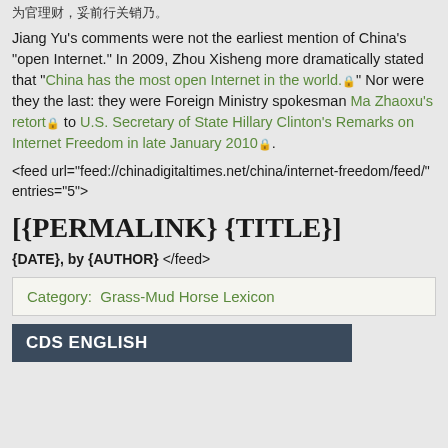为官理财，妥前行关销乃。
Jiang Yu's comments were not the earliest mention of China's "open Internet." In 2009, Zhou Xisheng more dramatically stated that "China has the most open Internet in the world.🔒" Nor were they the last: they were Foreign Ministry spokesman Ma Zhaoxu's retort🔒 to U.S. Secretary of State Hillary Clinton's Remarks on Internet Freedom in late January 2010🔒.
<feed url="feed://chinadigitaltimes.net/china/internet-freedom/feed/" entries="5">
[{PERMALINK} {TITLE}]
{DATE}, by {AUTHOR} </feed>
Category:  Grass-Mud Horse Lexicon
CDS ENGLISH